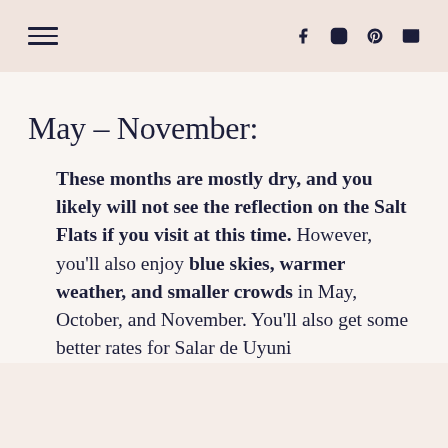☰  f  Instagram  Pinterest  Mail
May – November:
These months are mostly dry, and you likely will not see the reflection on the Salt Flats if you visit at this time. However, you'll also enjoy blue skies, warmer weather, and smaller crowds in May, October, and November. You'll also get some better rates for Salar de Uyuni